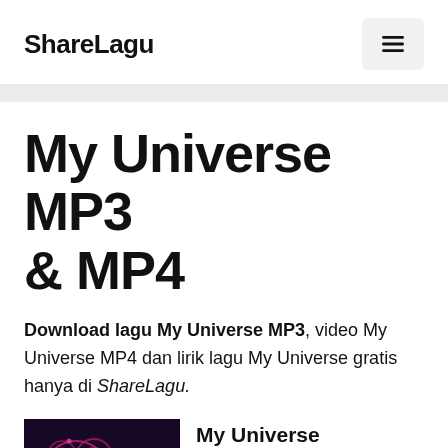ShareLagu
My Universe MP3 & MP4
Download lagu My Universe MP3, video My Universe MP4 dan lirik lagu My Universe gratis hanya di ShareLagu.
[Figure (photo): Album art thumbnail for My Universe - dark purple background with pink/magenta swirling neon light patterns]
My Universe
Coldplay & BTS • My Universe & My MP...